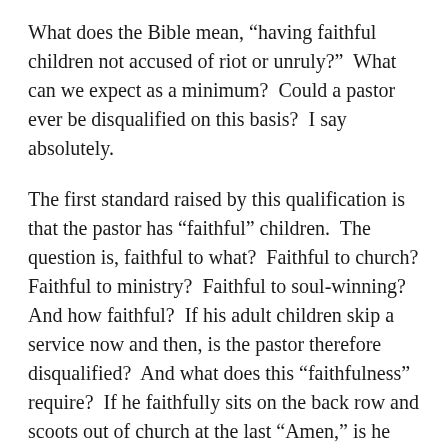What does the Bible mean, “having faithful children not accused of riot or unruly?”  What can we expect as a minimum?  Could a pastor ever be disqualified on this basis?  I say absolutely.
The first standard raised by this qualification is that the pastor has “faithful” children.  The question is, faithful to what?  Faithful to church?  Faithful to ministry?  Faithful to soul-winning?  And how faithful?  If his adult children skip a service now and then, is the pastor therefore disqualified?  And what does this “faithfulness” require?  If he faithfully sits on the back row and scoots out of church at the last “Amen,” is he faithful?